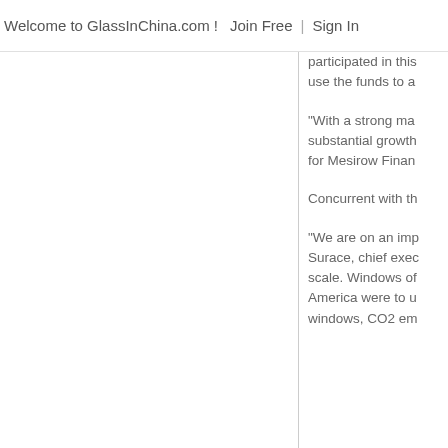Welcome to GlassInChina.com !   Join Free  |  Sign In
participated in this use the funds to a
"With a strong ma substantial growth for Mesirow Finan
Concurrent with th
"We are on an imp Surace, chief exec scale. Windows of America were to u windows, CO2 em